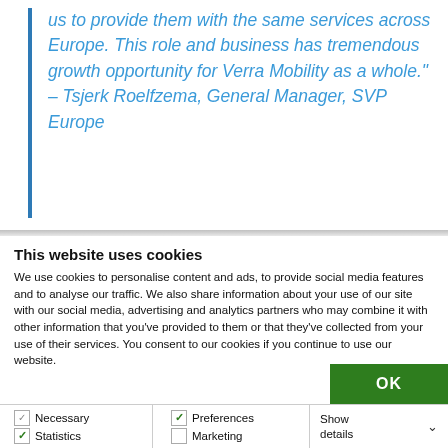us to provide them with the same services across Europe. This role and business has tremendous growth opportunity for Verra Mobility as a whole." – Tsjerk Roelfzema, General Manager, SVP Europe
This website uses cookies
We use cookies to personalise content and ads, to provide social media features and to analyse our traffic. We also share information about your use of our site with our social media, advertising and analytics partners who may combine it with other information that you've provided to them or that they've collected from your use of their services. You consent to our cookies if you continue to use our website.
OK
Necessary | Statistics | Preferences | Marketing | Show details